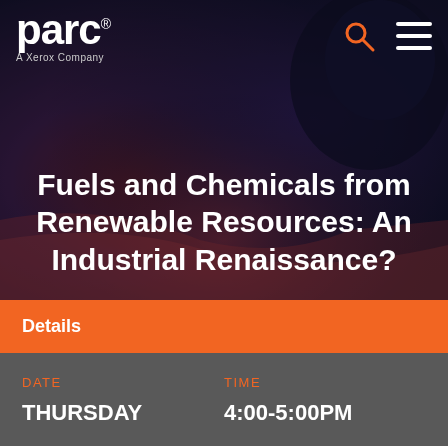[Figure (photo): Dark background photo showing futuristic/industrial scene with blue and purple tones, serving as hero image for PARC website event page]
parc® A Xerox Company
Fuels and Chemicals from Renewable Resources: An Industrial Renaissance?
Details
DATE
THURSDAY
TIME
4:00-5:00PM